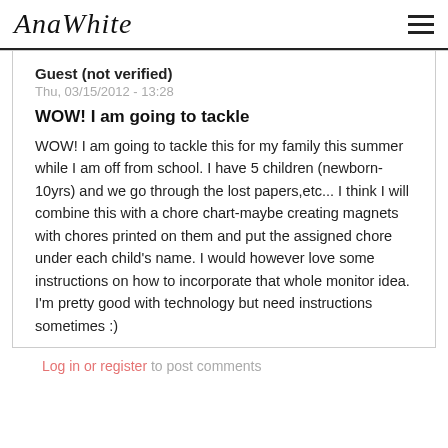AnaWhite
Guest (not verified)
Thu, 03/15/2012 - 13:28
WOW! I am going to tackle
WOW! I am going to tackle this for my family this summer while I am off from school. I have 5 children (newborn-10yrs) and we go through the lost papers,etc... I think I will combine this with a chore chart-maybe creating magnets with chores printed on them and put the assigned chore under each child's name. I would however love some instructions on how to incorporate that whole monitor idea. I'm pretty good with technology but need instructions sometimes :)
Log in or register to post comments